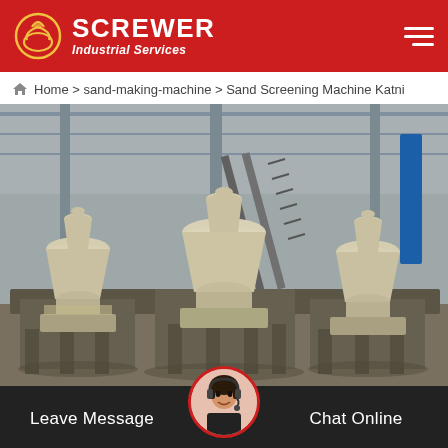SCREWER Industrial Services
Home > sand-making-machine > Sand Screening Machine Katni
[Figure (photo): Industrial sand screening / sand-making machines inside a factory warehouse. Three large beige/cream colored cone-shaped crusher machines on heavy metal frames, arranged side by side. Steel structure building with staircases visible in background.]
Leave Message   Chat Online